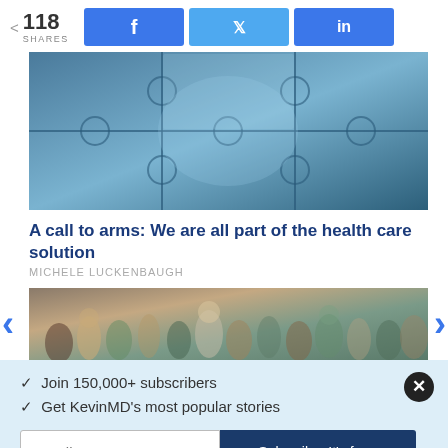< 118 SHARES
[Figure (other): Puzzle pieces with blue glassy texture, partial image at top]
A call to arms: We are all part of the health care solution
MICHELE LUCKENBAUGH
[Figure (photo): Crowd of people at an event or gathering]
Join 150,000+ subscribers
Get KevinMD's most popular stories
Email | Subscribe. It's free.